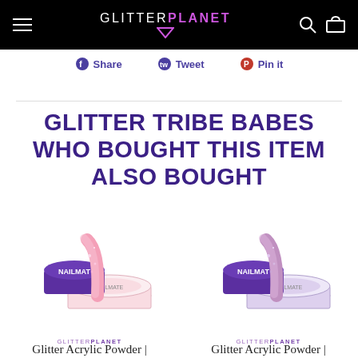GLITTERPLANET navigation bar with hamburger menu, logo, search and cart icons
Share   Tweet   Pin it
GLITTER TRIBE BABES WHO BOUGHT THIS ITEM ALSO BOUGHT
[Figure (photo): Nail Mate glitter acrylic powder product - pink, with purple jar lid]
GLITTERPLANET
Glitter Acrylic Powder |
[Figure (photo): Nail Mate glitter acrylic powder product - purple/mauve, with purple jar lid]
GLITTERPLANET
Glitter Acrylic Powder |